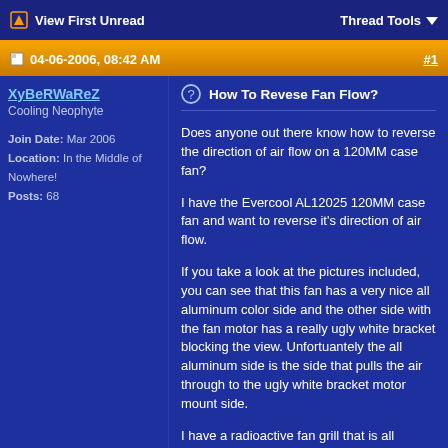View First Unread | Thread Tools
04-06-2006, 08:42 AM | #1
XyBeRWaReZ
Cooling Neophyte
Join Date: Mar 2006
Location: In the Middle of Nowhere!
Posts: 68
How To Revese Fan Flow?
Does anyone out there know how to reverse the direction of air flow on a 120MM case fan?

I have the Evercool AL12025 120MM case fan and want to reverse it's direction of air flow.

If you take a look at the pictures included, you can see that this fan has a very nice all aluminum color side and the other side with the fan motor has a really ugly white bracket blocking the view. Unfortuantely the all aluminum side is the side that pulls the air through to the ugly white bracket motor mount side.

I have a radioactive fan grill that is all polished aluminum and if I put it on the white bracket side, it looks really ugly as the bracket can easily be seen through. So I want to put it on the all aluminum fan side.